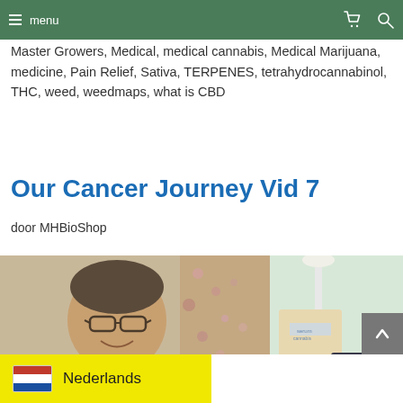menu  Master Growers, Medical, medical cannabis, Medical Marijuana, medicine, Pain Relief, Sativa, TERPENES, tetrahydrocannabinol, THC, weed, weedmaps, what is CBD
Master Growers, Medical, medical cannabis, Medical Marijuana, medicine, Pain Relief, Sativa, TERPENES, tetrahydrocannabinol, THC, weed, weedmaps, what is CBD
Our Cancer Journey Vid 7
door MHBioShop
[Figure (photo): A middle-aged man wearing glasses and a teal/green polo shirt, smiling at the camera. He is taking a selfie indoors. Behind him is a floral curtain and what appears to be a light-colored bag or box, and some greenery visible through a window on the right side. A dark laptop or device is partially visible at lower right.]
Nederlands